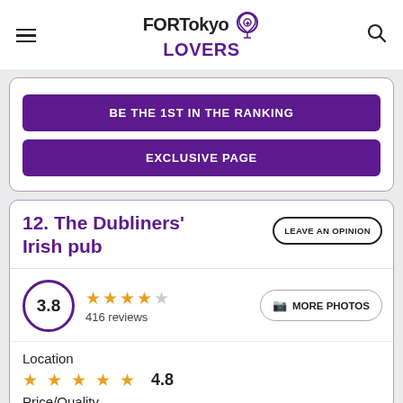FORTokyo LOVERS
BE THE 1ST IN THE RANKING
EXCLUSIVE PAGE
12. The Dubliners' Irish pub
LEAVE AN OPINION
3.8 — 416 reviews — MORE PHOTOS
Location
4.8
Price/Quality